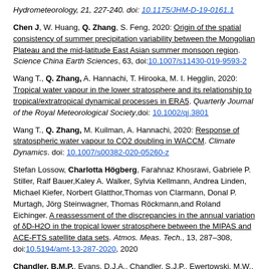Hydrometeorology, 21, 227-240. doi: 10.1175/JHM-D-19-0161.1
Chen J, W. Huang, Q. Zhang, S. Feng, 2020: Origin of the spatial consistency of summer precipitation variability between the Mongolian Plateau and the mid-latitude East Asian summer monsoon region. Science China Earth Sciences, 63, doi:10.1007/s11430-019-9593-2
Wang T., Q. Zhang, A. Hannachi, T. Hirooka, M. I. Hegglin, 2020: Tropical water vapour in the lower stratosphere and its relationship to tropical/extratropical dynamical processes in ERA5. Quarterly Journal of the Royal Meteorological Society,doi: 10.1002/qj.3801
Wang T., Q. Zhang, M. Kuilman, A. Hannachi, 2020: Response of stratospheric water vapour to CO2 doubling in WACCM. Climate Dynamics. doi: 10.1007/s00382-020-05260-z
Stefan Lossow, Charlotta Högberg, Farahnaz Khosrawi, Gabriele P. Stiller, Ralf Bauer,Kaley A. Walker, Sylvia Kellmann, Andrea Linden, Michael Kiefer, Norbert Glatthor,Thomas von Clarmann, Donal P. Murtagh, Jörg Steinwagner, Thomas Röckmann,and Roland Eichinger. A reassessment of the discrepancies in the annual variation of δD-H2O in the tropical lower stratosphere between the MIPAS and ACE-FTS satellite data sets. Atmos. Meas. Tech., 13, 287–308, doi:10.5194/amt-13-287-2020, 2020
Chandler, B.M.P., Evans, D.J.A., Chandler, S.J.P., Ewertowski, M.W.,